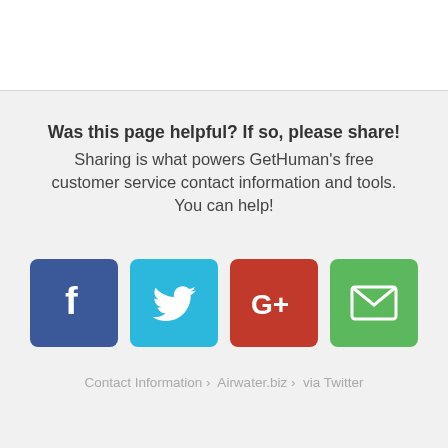Was this page helpful? If so, please share!
Sharing is what powers GetHuman's free customer service contact information and tools. You can help!
[Figure (infographic): Four social sharing buttons: Facebook (blue), Twitter (light blue), Google+ (red), Email (green)]
Contact Information › Airwater.biz › via Twitter